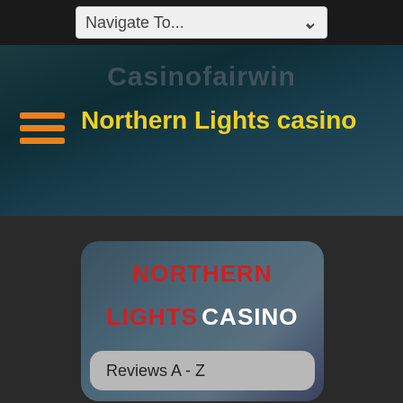Navigate To...
Casinofairwin
Northern Lights casino
[Figure (screenshot): Northern Lights Casino logo card with red and white text on blue-grey blurred background]
NORTHERN LIGHTS CASINO
Reviews A - Z